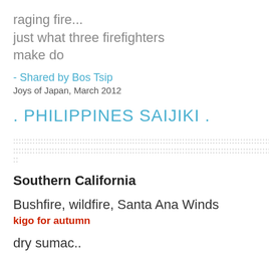raging fire...
just what three firefighters
make do
- Shared by Bos Tsip
Joys of Japan, March 2012
. PHILIPPINES SAIJIKI .
:::::::::::::::::::::::::::::::::::::::::::::::::::::::::::::::::::::::::::::::::::::::::::::::::::::::::::::::::::::::::::::::::::::::::::::::::::::::::::::::::::::::::::::::::::::::::::::::::::::::::
:::::::::::::::::::::::::::::::::::::::::::::::::::::::::::::::::::::::::::::::::::::::::::::::::::::::::::::::::::::::::::::::::::::::::::::::::::::::::::::::::::::::::::::::::::::::::::::::::::::::::
::
Southern California
Bushfire, wildfire, Santa Ana Winds
kigo for autumn
dry sumac..